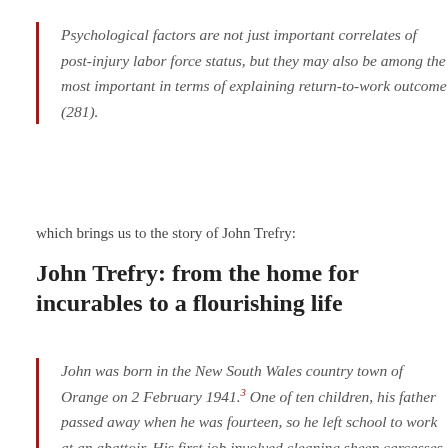Psychological factors are not just important correlates of post-injury labor force status, but they may also be among the most important in terms of explaining return-to-work outcome (281).
which brings us to the story of John Trefry:
John Trefry: from the home for incurables to a flourishing life
John was born in the New South Wales country town of Orange on 2 February 1941.3 One of ten children, his father passed away when he was fourteen, so he left school to work at an abattoir. His first job involved cleaning sheep carcasses and